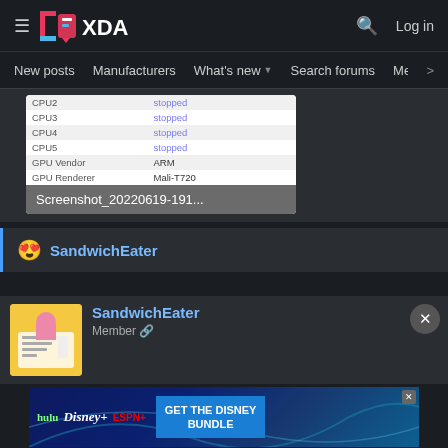[Figure (screenshot): XDA Developers forum website screenshot showing navigation header with XDA logo, hamburger menu, search and login buttons, and navigation links: New posts, Manufacturers, What's new, Search forums, Members]
[Figure (table-as-image): Screenshot card showing CPU info table with rows CPU2-CPU5 all stopped, GPU Vendor: ARM, GPU Renderer: Mali-T720, filename: Screenshot_20220619-191...]
SandwichEater
SandwichEater
Member
[Figure (photo): Disney Bundle advertisement banner with Hulu, Disney+, ESPN+ logos and GET THE DISNEY BUNDLE call to action. Fine print: Incl. Hulu (ad-supported) or Hulu (No Ads). Access content from each service separately. ©2021 Disney and its related entities.]
Jun 19, 2022